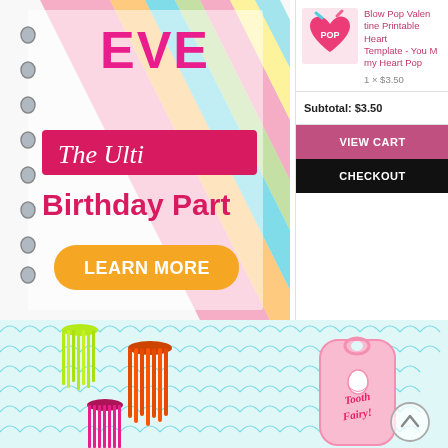[Figure (photo): Spiral-bound notebook with colorful diagonal stripes and text reading 'The Ultimate Birthday Party' with a pink banner and 'LEARN MORE' orange button, partially cropped.]
[Figure (photo): Small product thumbnail of Blow Pop Valentine candy with heart shape.]
Blow Pop Valentine Printable Heart Template - You Make my Heart Pop
1 × $3.50
Subtotal: $3.50
VIEW CART
CHECKOUT
[Figure (photo): Colorful yarn tassels (neon green, orange, pink) and a pink 'Tooth Fairy' door hanger on a teal scallop-patterned background.]